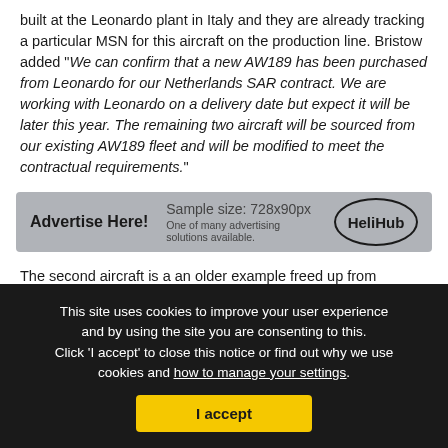built at the Leonardo plant in Italy and they are already tracking a particular MSN for this aircraft on the production line. Bristow added "We can confirm that a new AW189 has been purchased from Leonardo for our Netherlands SAR contract. We are working with Leonardo on a delivery date but expect it will be later this year. The remaining two aircraft will be sourced from our existing AW189 fleet and will be modified to meet the contractual requirements."
[Figure (other): Advertisement banner with 'Advertise Here!' text, sample size 728x90px, HeliHub logo in a circle]
The second aircraft is a an older example freed up from offshore work when Bristow lost the Apache contract. This AW189 has been ferried from Aberdeen to Lee-on-Solent,
This site uses cookies to improve your user experience and by using the site you are consenting to this. Click 'I accept' to close this notice or find out why we use cookies and how to manage your settings.